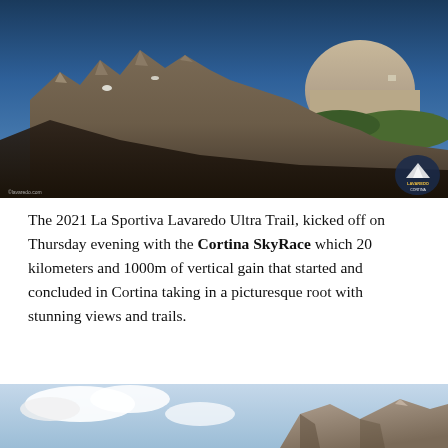[Figure (photo): Panoramic mountain landscape photo showing dramatic rocky Dolomite peaks under a clear blue sky, with green alpine meadows and a building visible on the right mountain. A Lavaredo Cortina event logo watermark appears in the bottom right corner.]
The 2021 La Sportiva Lavaredo Ultra Trail, kicked off on Thursday evening with the Cortina SkyRace which 20 kilometers and 1000m of vertical gain that started and concluded in Cortina taking in a picturesque root with stunning views and trails.
[Figure (photo): Partial view of another mountain landscape photo showing rocky peaks and clouds, partially cropped at the bottom of the page.]